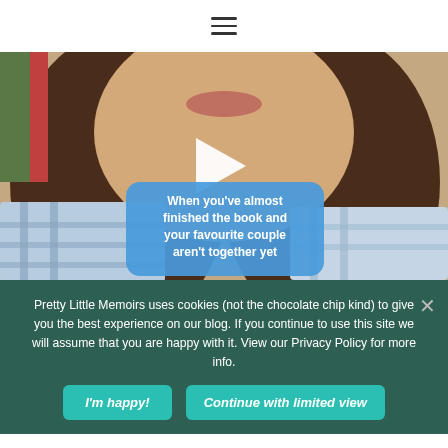≡ (hamburger menu icon)
[Figure (screenshot): Video thumbnail showing a woman's face with brown curly hair and a plaid shirt, with a blue speech bubble overlay reading: 'When you've almost finished the book and your favourite couple aren't together yet', and a white play button triangle in the center.]
Pretty Little Memoirs uses cookies (not the chocolate chip kind) to give you the best experience on our blog. If you continue to use this site we will assume that you are happy with it. View our Privacy Policy for more info.
I'm happy!
Continue with limited view